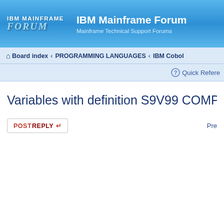IBM Mainframe Forum - Mainframe Technical Support Forums
Board index · PROGRAMMING LANGUAGES · IBM Cobol
Quick Reference
Variables with definition S9V99 COMP-3 and PIC
POSTREPLY  Pre